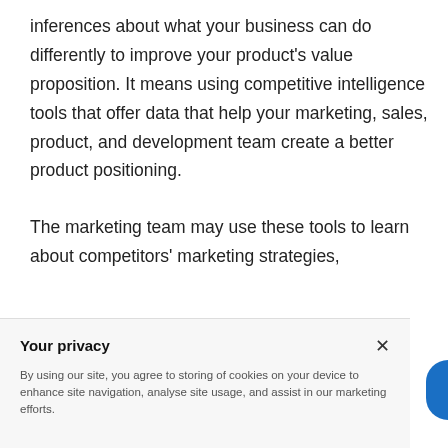inferences about what your business can do differently to improve your product's value proposition. It means using competitive intelligence tools that offer data that help your marketing, sales, product, and development team create a better product positioning.
The marketing team may use these tools to learn about competitors' marketing strategies,
Your privacy
By using our site, you agree to storing of cookies on your device to enhance site navigation, analyse site usage, and assist in our marketing efforts.